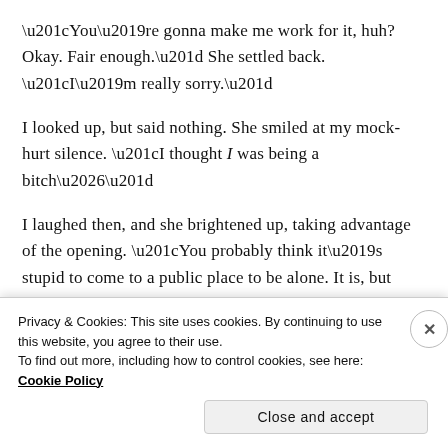“You’re gonna make me work for it, huh? Okay. Fair enough.” She settled back. “I’m really sorry.”
I looked up, but said nothing. She smiled at my mock-hurt silence. “I thought I was being a bitch…”
I laughed then, and she brightened up, taking advantage of the opening. “You probably think it’s stupid to come to a public place to be alone. It is, but after a while, you get the hang of it.”
[Figure (screenshot): WooCommerce advertisement banner with purple background, teal arrow shape, orange blob, and text 'How to start selling']
Privacy & Cookies: This site uses cookies. By continuing to use this website, you agree to their use.
To find out more, including how to control cookies, see here: Cookie Policy
Close and accept